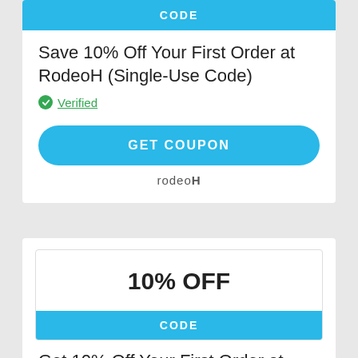CODE
Save 10% Off Your First Order at RodeoH (Single-Use Code)
Verified
GET COUPON
rodeoH
10% OFF
CODE
Get 10% Off Your First Order at RodeoH (Referral Code)